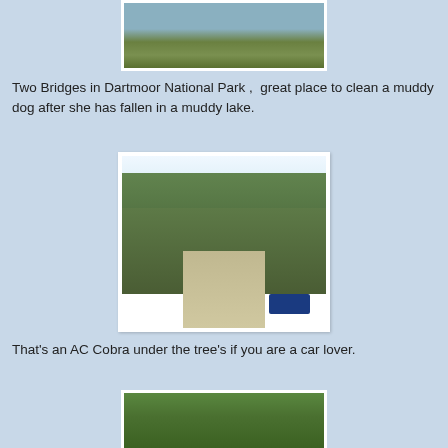[Figure (photo): Partial photo of a muddy lake or pond with green grass and reeds, in Dartmoor National Park]
Two Bridges in Dartmoor National Park ,  great place to clean a muddy dog after she has fallen in a muddy lake.
[Figure (photo): Road through trees with an AC Cobra car parked under the trees; bright sunlight, green trees on both sides of road]
That's an AC Cobra under the tree's if you are a car lover.
[Figure (photo): Partial photo of green trees, bottom of page]